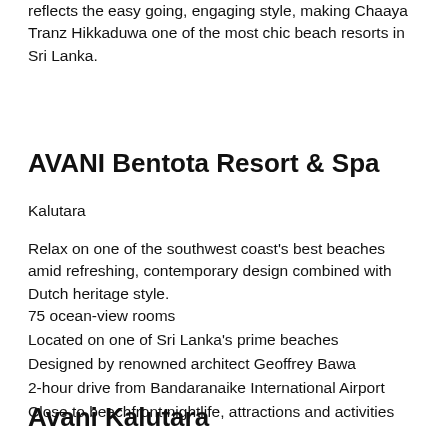reflects the easy going, engaging style, making Chaaya Tranz Hikkaduwa one of the most chic beach resorts in Sri Lanka.
AVANI Bentota Resort & Spa
Kalutara
Relax on one of the southwest coast's best beaches amid refreshing, contemporary design combined with Dutch heritage style.
75 ocean-view rooms
Located on one of Sri Lanka's prime beaches
Designed by renowned architect Geoffrey Bawa
2-hour drive from Bandaranaike International Airport
Close to beachfront nightlife, attractions and activities
Avani Kalutara